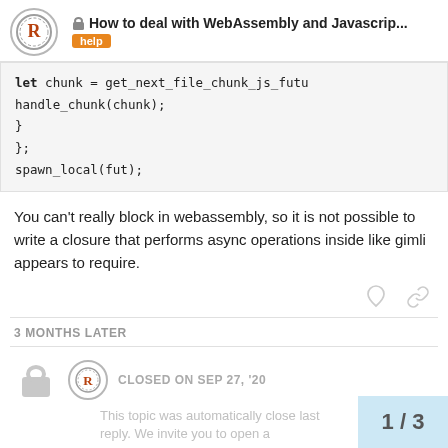How to deal with WebAssembly and Javascrip... | help
let chunk = get_next_file_chunk_js_futu
        handle_chunk(chunk);
    }
};
spawn_local(fut);
You can't really block in webassembly, so it is not possible to write a closure that performs async operations inside like gimli appears to require.
3 MONTHS LATER
CLOSED ON SEP 27, '20
This topic was automatically close last reply. We invite you to open a
1 / 3